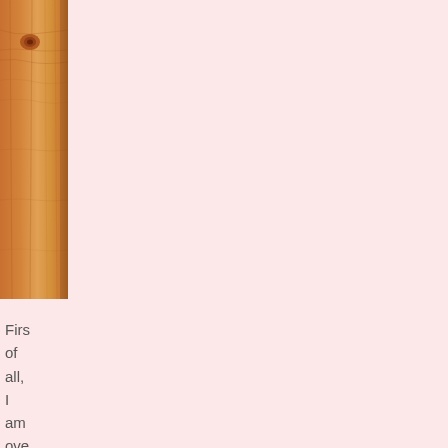[Figure (photo): Close-up photo of a wooden plank or board with visible grain and a knot, showing warm orange-brown tones. The image is cropped to show only the left portion of the wood.]
First of all, I am ove with the